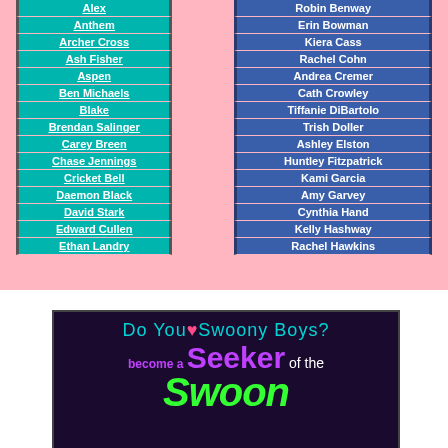| Character Names (Teal) | Author Names (Blue) |
| --- | --- |
| Alex | Robin Benway |
| Anthem | Erin Bowman |
| Archer Cross | Kiera Cass |
| Ash Fisher | Rachel Cohn |
| Aspen | Andrea Cremer |
| Ben Michaels | Cath Crowley |
| Blake | Tiffanie DiBartolo |
| Brendan Salinger | Trish Doller |
| Carey Breen | Ashley Elston |
| Chase Jennings | Huntley Fitzpatrick |
| Cricket Bell | Kami Garcia |
| Daemon Black | Amy Garvey |
| David Stark | Cynthia Hand |
| Edward Cullen | Kelly Hashway |
| Ethan Landry | Rachel Hawkins |
[Figure (illustration): Dark purple/black banner image with colorful text reading 'Do You (heart) Swoony Boys? become a Seeker of the Swoon' in teal, pink, purple, and green neon colors]